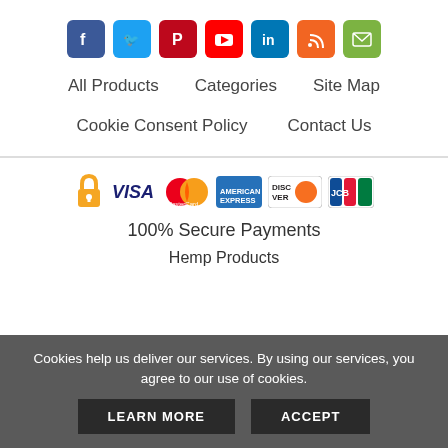[Figure (other): Social media icons row: Facebook, Twitter, Pinterest, YouTube, LinkedIn, RSS, Email]
All Products   Categories   Site Map
Cookie Consent Policy   Contact Us
[Figure (other): Payment security icons: lock, VISA, MasterCard, American Express, Discover, JCB]
100% Secure Payments
Hemp Products
Cookies help us deliver our services. By using our services, you agree to our use of cookies.
LEARN MORE
ACCEPT